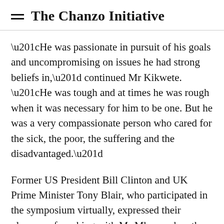The Chanzo Initiative
“He was passionate in pursuit of his goals and uncompromising on issues he had strong beliefs in,” continued Mr Kikwete. “He was tough and at times he was rough when it was necessary for him to be one. But he was a very compassionate person who cared for the sick, the poor, the suffering and the disadvantaged.”
Former US President Bill Clinton and UK Prime Minister Tony Blair, who participated in the symposium virtually, expressed their pleasure of working with Mr Mkapa when the three were serving their respective nations, with Mr Blair